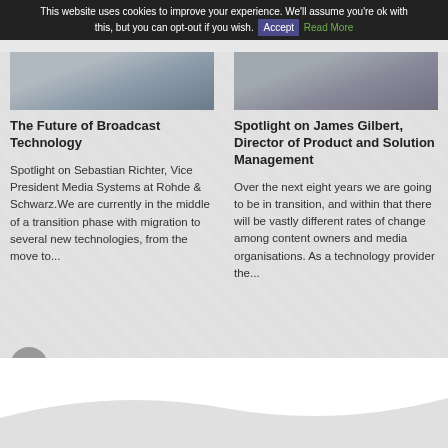This website uses cookies to improve your experience. We'll assume you're ok with this, but you can opt-out if you wish. Accept Read More
The Future of Broadcast Technology
Spotlight on Sebastian Richter, Vice President Media Systems at Rohde & Schwarz.We are currently in the middle of a transition phase with migration to several new technologies, from the move to...
Spotlight on James Gilbert, Director of Product and Solution Management
Over the next eight years we are going to be in transition, and within that there will be vastly different rates of change among content owners and media organisations. As a technology provider the...